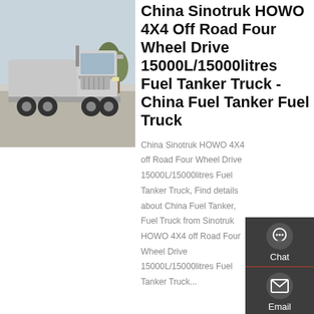[Figure (photo): Silver/white Sinotruk HOWO semi-truck cab photographed outdoors on a paved area with trees in background.]
China Sinotruk HOWO 4X4 Off Road Four Wheel Drive 15000L/15000litres Fuel Tanker Truck - China Fuel Tanker Fuel Truck
China Sinotruk HOWO 4X4 off Road Four Wheel Drive 15000L/15000litres Fuel Tanker Truck, Find details about China Fuel Tanker, Fuel Truck from Sinotruk HOWO 4X4 off Road Four Wheel Drive 15000L/15000litres Fuel Tanker Truck...